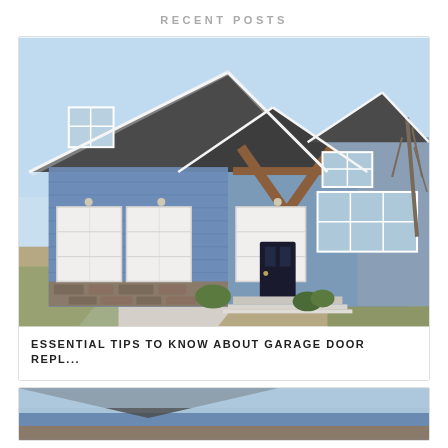RECENT POSTS
[Figure (photo): Exterior photo of a large two-story craftsman-style house with blue siding, white trim, three-car garage with white doors, stone accents, a prominent gabled entry with wood beam details, and a curved concrete driveway. Clear blue sky, bare trees in background, early spring lawn.]
ESSENTIAL TIPS TO KNOW ABOUT GARAGE DOOR REPL...
[Figure (photo): Partial view of another house photo at the bottom of the page, mostly cropped out.]